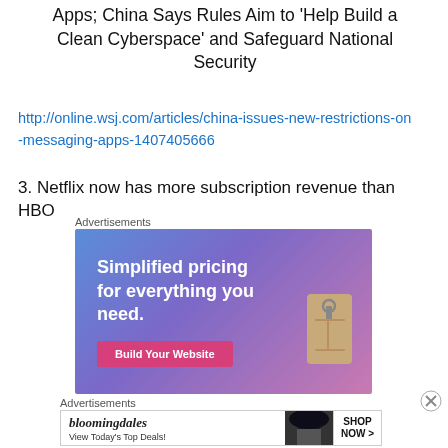Apps; China Says Rules Aim to 'Help Build a Clean Cyberspace' and Safeguard National Security
http://online.wsj.com/articles/china-issues-new-restrictions-on-messaging-apps-1407405666
3. Netflix now has more subscription revenue than HBO
[Figure (other): Advertisement banner: 'Simplified pricing for everything you need. Build Your Website' on blue/purple gradient background with a price tag graphic.]
[Figure (other): Bloomingdales advertisement: logo, 'View Today's Top Deals!' text, woman in hat image, and 'SHOP NOW >' button.]